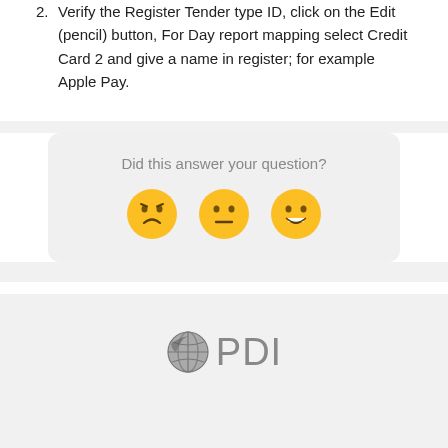2. Verify the Register Tender type ID, click on the Edit (pencil) button, For Day report mapping select Credit Card 2 and give a name in register; for example Apple Pay.
Did this answer your question?
[Figure (illustration): Three emoji faces: disappointed (frowning), neutral, and happy (grinning with teeth)]
[Figure (logo): PDI logo with globe icon to the left of the letters PDI in gray]